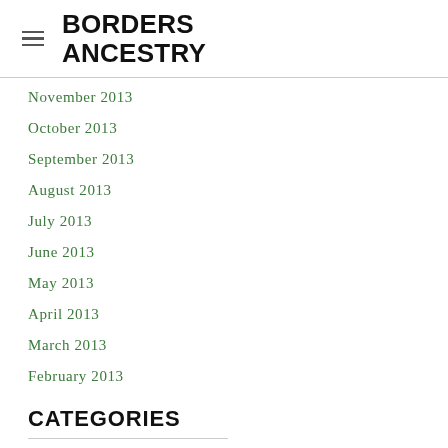BORDERS ANCESTRY
November 2013
October 2013
September 2013
August 2013
July 2013
June 2013
May 2013
April 2013
March 2013
February 2013
CATEGORIES